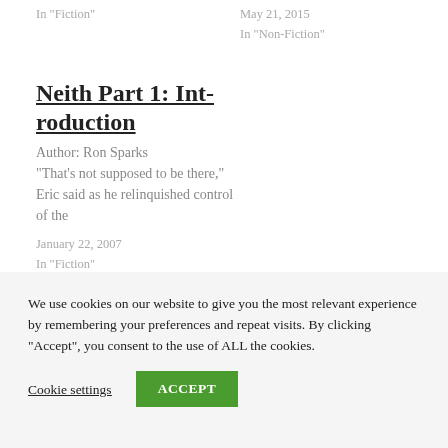In "Fiction"
May 21, 2015
In "Non-Fiction"
Neith Part 1: Introduction
Author: Ron Sparks
"That's not supposed to be there," Eric said as he relinquished control of the
January 22, 2007
In "Fiction"
We use cookies on our website to give you the most relevant experience by remembering your preferences and repeat visits. By clicking “Accept”, you consent to the use of ALL the cookies.
Cookie settings
ACCEPT